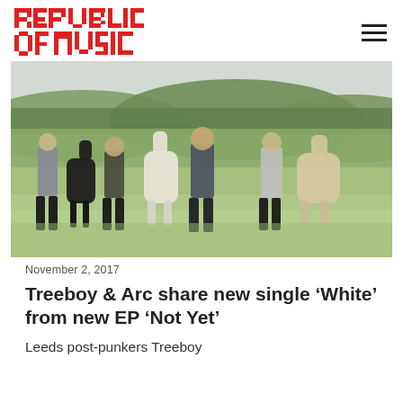Republic of Music
[Figure (photo): Four young people standing in a grassy field with alpacas (black, white, and beige coloured), green rolling hills and trees in the background.]
November 2, 2017
Treeboy & Arc share new single ‘White’ from new EP ‘Not Yet’
Leeds post-punkers Treeboy